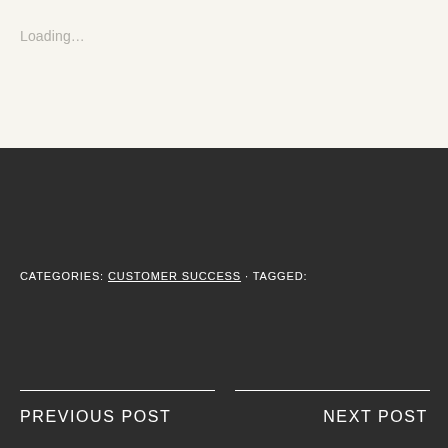Loading…
CATEGORIES: CUSTOMER SUCCESS · TAGGED:
PREVIOUS POST
NEXT POST